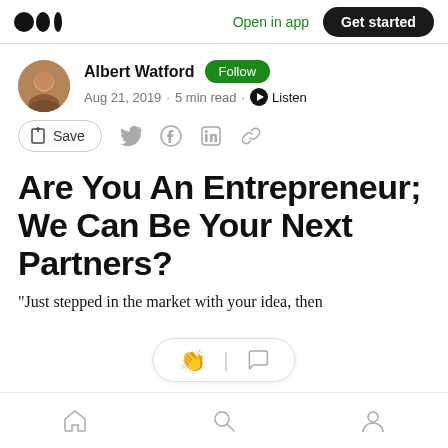Open in app · Get started
Albert Watford · Follow · Aug 21, 2019 · 5 min read · Listen
Save
Are You An Entrepreneur; We Can Be Your Next Partners?
“Just stepped in the market with your idea, then